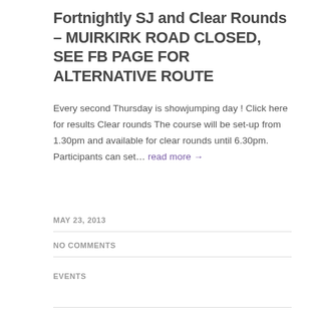Fortnightly SJ and Clear Rounds – MUIRKIRK ROAD CLOSED, SEE FB PAGE FOR ALTERNATIVE ROUTE
Every second Thursday is showjumping day ! Click here for results Clear rounds The course will be set-up from 1.30pm and available for clear rounds until 6.30pm. Participants can set… read more →
MAY 23, 2013
NO COMMENTS
EVENTS